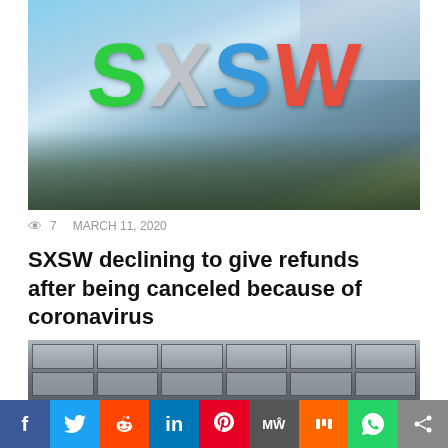[Figure (photo): SXSW large colorful letter signs (S, X, W, W) in green, grey, blue, and orange/red with crowd and Austin skyline in background]
👁 7    MARCH 11, 2020
SXSW declining to give refunds after being canceled because of coronavirus
[Figure (photo): Modern glass building exterior with large dark structural frames and panels]
[Figure (infographic): Social share bar with Facebook, Twitter, Reddit, LinkedIn, Pinterest, MeWe, Mix, WhatsApp, and share buttons]